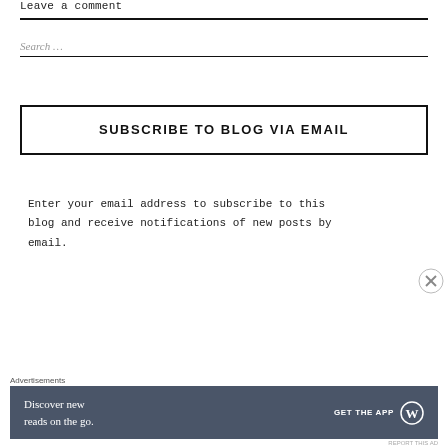Whitney Victoria
Leave a comment
Search …
SUBSCRIBE TO BLOG VIA EMAIL
Enter your email address to subscribe to this blog and receive notifications of new posts by email.
Advertisements
[Figure (infographic): WordPress app advertisement banner: 'Discover new reads on the go.' with GET THE APP button and WordPress logo on dark grey background.]